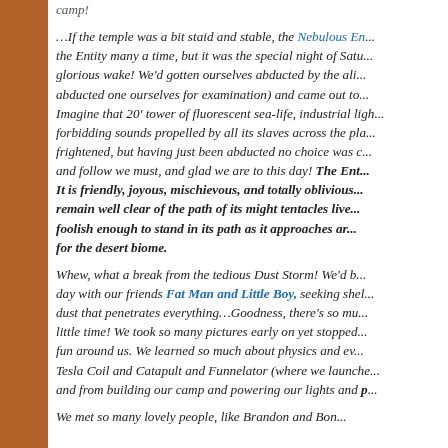camp!
…If the temple was a bit staid and stable, the Nebulous En... the Entity many a time, but it was the special night of Satu... glorious wake!  We'd gotten ourselves abducted by the ali... abducted one ourselves for examination) and came out to... Imagine that 20' tower of fluorescent sea-life, industrial ligh... forbidding sounds propelled by all its slaves across the pla... frightened, but having just been abducted no choice was c... and follow we must, and glad we are to this day!  The Ent... It is friendly, joyous, mischievous, and totally oblivious... remain well clear of the path of its might tentacles live... foolish enough to stand in its path as it approaches ar... for the desert biome.
Whew, what a break from the tedious Dust Storm!  We'd b... day with our friends Fat Man and Little Boy, seeking shel... dust that penetrates everything…Goodness, there's so mu... little time!  We took so many pictures early on yet stopped... fun around us.  We learned so much about physics and ev... Tesla Coil and Catapult and Funnelator (where we launche... and from building our camp and powering our lights and p...
We met so many lovely people, like Brandon and Bon...